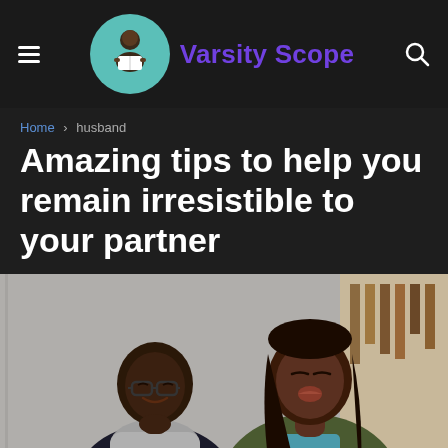Varsity Scope
Home > husband
Amazing tips to help you remain irresistible to your partner
[Figure (photo): A couple — a man wearing glasses and a grey scarf looking forward smiling, and a woman with long hair leaning in and puckering her lips toward him, as if about to kiss his cheek]